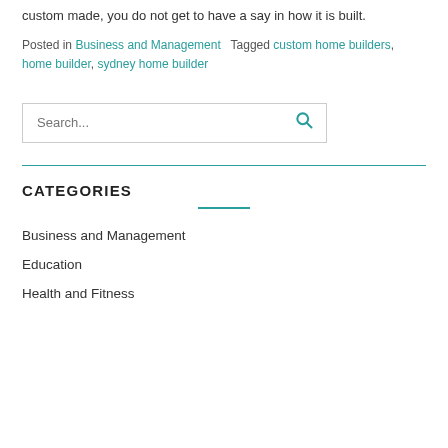custom made, you do not get to have a say in how it is built.
Posted in Business and Management   Tagged custom home builders, home builder, sydney home builder
[Figure (other): Search input box with a teal magnifying glass icon]
CATEGORIES
Business and Management
Education
Health and Fitness